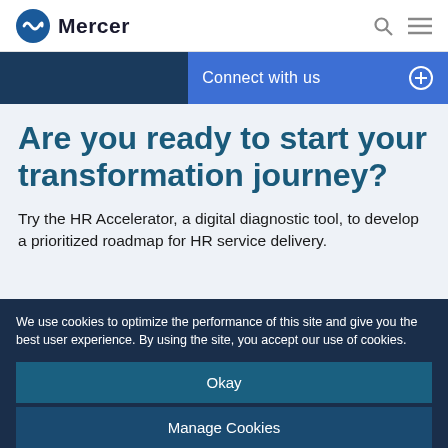Mercer
Connect with us
Are you ready to start your transformation journey?
Try the HR Accelerator, a digital diagnostic tool, to develop a prioritized roadmap for HR service delivery.
We use cookies to optimize the performance of this site and give you the best user experience. By using the site, you accept our use of cookies.
Okay
Manage Cookies